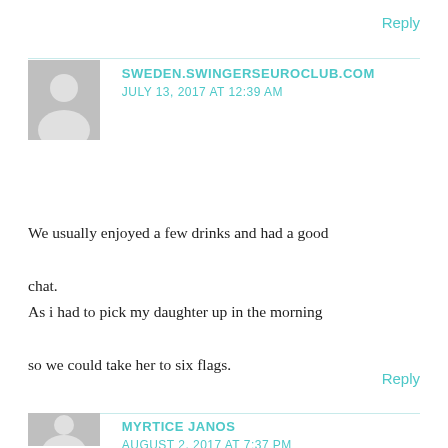Reply
SWEDEN.SWINGERSEUROCLUB.COM
JULY 13, 2017 AT 12:39 AM
We usually enjoyed a few drinks and had a good chat.
As i had to pick my daughter up in the morning so we could take her to six flags.
Reply
MYRTICE JANOS
AUGUST 2, 2017 AT 7:37 PM
Hi! I'm at work browsing your blog from my new